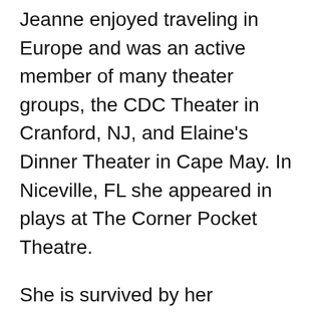Jeanne enjoyed traveling in Europe and was an active member of many theater groups, the CDC Theater in Cranford, NJ, and Elaine's Dinner Theater in Cape May. In Niceville, FL she appeared in plays at The Corner Pocket Theatre.
She is survived by her daughter, Dale, wife of Wayne, of Hummelstown, PA, a son, Robert, husband of Rebecca, of Huntsville, AL, and daughter, Karen, wife of Peter, of Tobaccoville, NC. Her sister, Claire and husband Michael predeceased her in 2014.
Dear to Jeanne's heart are her grandchildren, Robert (Bo) and his wife, Katrina, Douglas (Dougie) and his wife, Christina as well as Meredith,